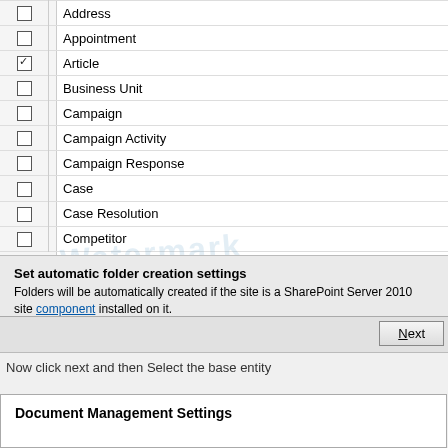[Figure (screenshot): Dialog window showing a list of entities with checkboxes. Address, Appointment are unchecked; Article is checked; Business Unit, Campaign, Campaign Activity, Campaign Response, Case, Case Resolution, Competitor are unchecked. Below the list is a 'Set automatic folder creation settings' section with URL field showing https://crm365.sharepoint.com/crm and a Next button.]
Now click next and then Select the base entity
[Figure (screenshot): Partial dialog showing 'Document Management Settings' section header.]